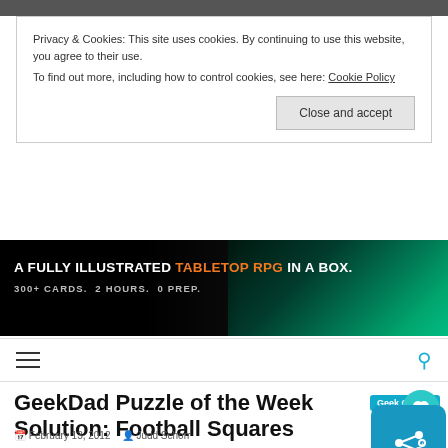Privacy & Cookies: This site uses cookies. By continuing to use this website, you agree to their use.
To find out more, including how to control cookies, see here: Cookie Policy
Close and accept
[Figure (infographic): Advertisement banner with dark background showing text 'A FULLY ILLUSTRATED TABLETOP RPG IN A BOX. 300+ CARDS. 2 HOURS. 0 PREP.' with green fantasy art of a creature on the right side.]
Navigation bar with hamburger menu and search icon
GeekDad Puzzle of the Week Solution: Football Squares
Geek Culture
February 13, 2012   Judd Schorr